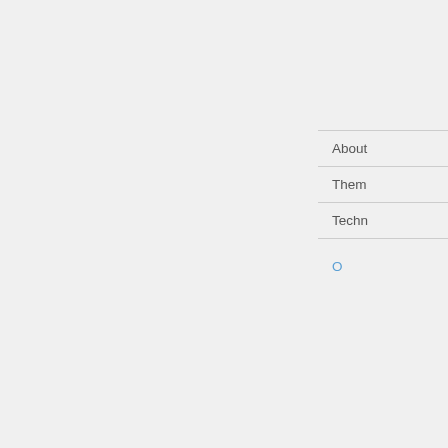About
Them
Techn
O
Other Techniques
Showing 1 - 160 of 609
Thumbna
[Figure (photo): Artwork thumbnail 1: abstract figures etched, sepia/dark tones]
[Figure (photo): Artwork thumbnail 2: abstract figures etched, sepia/dark tones]
[Figure (photo): Artwork thumbnail 3 (partial): abstract figures etched, dark tones]